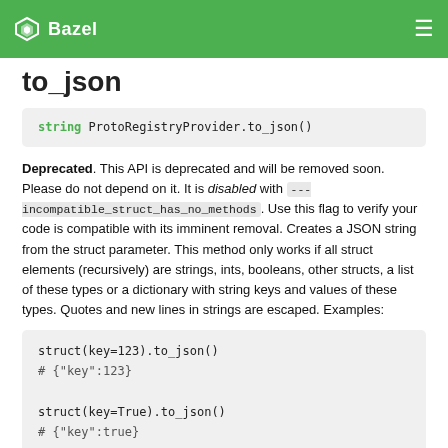Bazel
to_json
string ProtoRegistryProvider.to_json()
Deprecated. This API is deprecated and will be removed soon. Please do not depend on it. It is disabled with ---incompatible_struct_has_no_methods. Use this flag to verify your code is compatible with its imminent removal. Creates a JSON string from the struct parameter. This method only works if all struct elements (recursively) are strings, ints, booleans, other structs, a list of these types or a dictionary with string keys and values of these types. Quotes and new lines in strings are escaped. Examples:
struct(key=123).to_json()
# {"key":123}

struct(key=True).to_json()
# {"key":true}